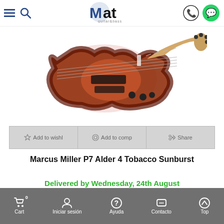Mat guitar & bass – navigation header with menu, search, logo, phone and WhatsApp icons
[Figure (photo): Product photo of a Marcus Miller P7 Alder 4 Tobacco Sunburst electric bass guitar, shown at an angle against a white background. The body is a reddish-brown tobacco sunburst finish with a natural/maple neck.]
Add to wishlist | Add to compare | Share
Marcus Miller P7 Alder 4 Tobacco Sunburst
Delivered by Wednesday, 24th August
Cart 0 | Iniciar sesión | Ayuda | Contacto | Top